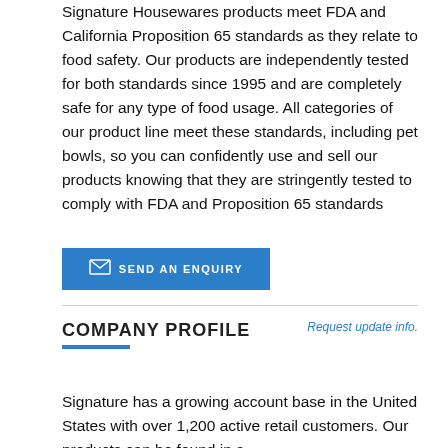Signature Housewares products meet FDA and California Proposition 65 standards as they relate to food safety. Our products are independently tested for both standards since 1995 and are completely safe for any type of food usage. All categories of our product line meet these standards, including pet bowls, so you can confidently use and sell our products knowing that they are stringently tested to comply with FDA and Proposition 65 standards
[Figure (other): Blue button with envelope icon and text SEND AN ENQUIRY]
COMPANY PROFILE
Request update info.
Signature has a growing account base in the United States with over 1,200 active retail customers. Our products can be found in a